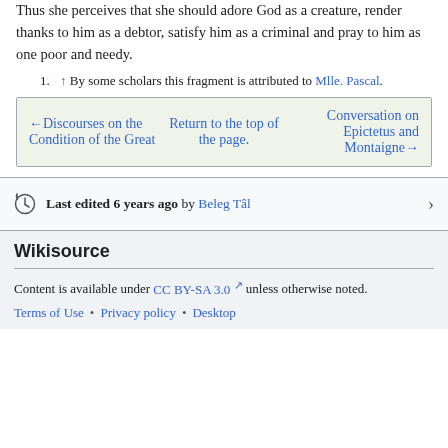Thus she perceives that she should adore God as a creature, render thanks to him as a debtor, satisfy him as a criminal and pray to him as one poor and needy.
1. ↑ By some scholars this fragment is attributed to Mlle. Pascal.
←Discourses on the Condition of the Great   Return to the top of the page.   Conversation on Epictetus and Montaigne→
Last edited 6 years ago by Beleg Tâl
Wikisource
Content is available under CC BY-SA 3.0 unless otherwise noted.
Terms of Use • Privacy policy • Desktop